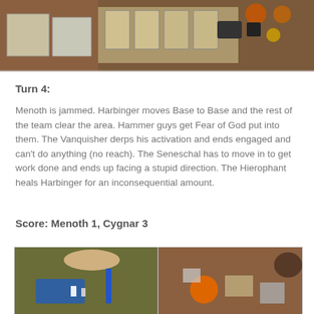[Figure (photo): Top portion of a photo showing a tabletop game setup with cards and tokens on a brown table]
Turn 4:
Menoth is jammed. Harbinger moves Base to Base and the rest of the team clear the area. Hammer guys get Fear of God put into them. The Vanquisher derps his activation and ends engaged and can't do anything (no reach). The Seneschal has to move in to get work done and ends up facing a stupid direction. The Hierophant heals Harbinger for an inconsequential amount.
Score: Menoth 1, Cygnar 3
[Figure (photo): Bottom portion of a photo showing a tabletop wargame in progress with miniatures on a brown game mat, split into two panels]